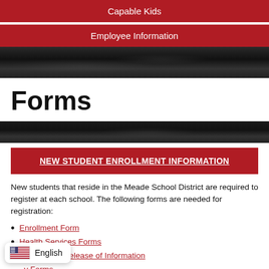Capable Kids
Employee Information
Forms
NEW STUDENT ENROLLMENT INFORMATION
New students that reside in the Meade School District are required to register at each school.  The following forms are needed for registration:
Enrollment Form
Health Services Forms
Request for Release of Information
...y Forms
MS/HS Technology Form
Elementary Technology F...